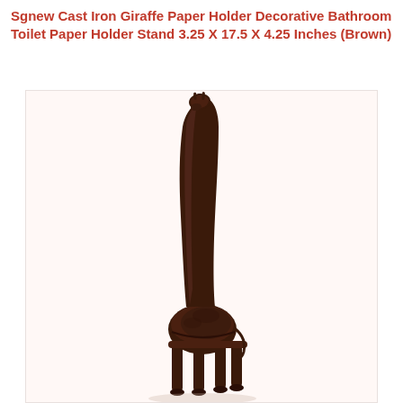Sgnew Cast Iron Giraffe Paper Holder Decorative Bathroom Toilet Paper Holder Stand 3.25 X 17.5 X 4.25 Inches (Brown)
[Figure (photo): A dark brown cast iron giraffe figurine serving as a toilet paper holder stand. The giraffe has a very long neck and stands upright. The body forms the base/holder section. The piece is photographed against a light pinkish-white background.]